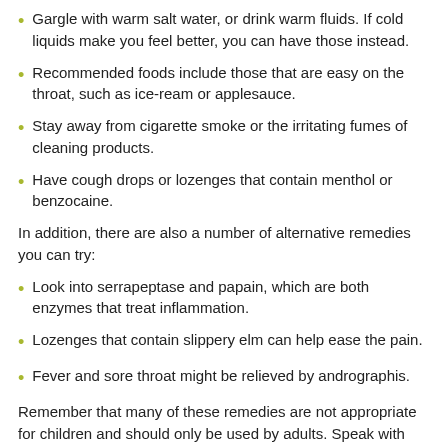Gargle with warm salt water, or drink warm fluids. If cold liquids make you feel better, you can have those instead.
Recommended foods include those that are easy on the throat, such as ice-ream or applesauce.
Stay away from cigarette smoke or the irritating fumes of cleaning products.
Have cough drops or lozenges that contain menthol or benzocaine.
In addition, there are also a number of alternative remedies you can try:
Look into serrapeptase and papain, which are both enzymes that treat inflammation.
Lozenges that contain slippery elm can help ease the pain.
Fever and sore throat might be relieved by andrographis.
Remember that many of these remedies are not appropriate for children and should only be used by adults. Speak with your doctor before trying any medicine for a silliness and your medicine